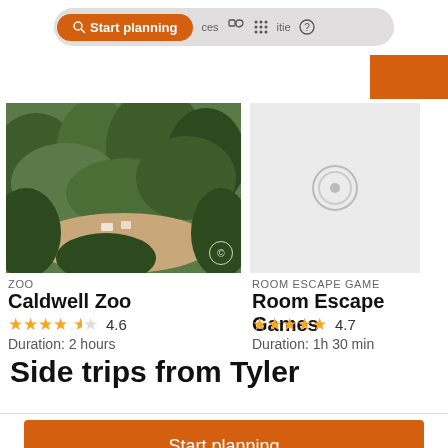[Figure (screenshot): Navigation bar with orange 'Start planning' button, heart icon, grid icon, and help icon on gray pill-shaped background]
[Figure (photo): Aerial view of Caldwell Zoo gardens with greenery]
ZOO
Caldwell Zoo
★★★★½ 4.6
Duration: 2 hours
ROOM ESCAPE GAME
Room Escape Games
★★★★★ 4.7
Duration: 1h 30 min
Side trips from Tyler
Start planning